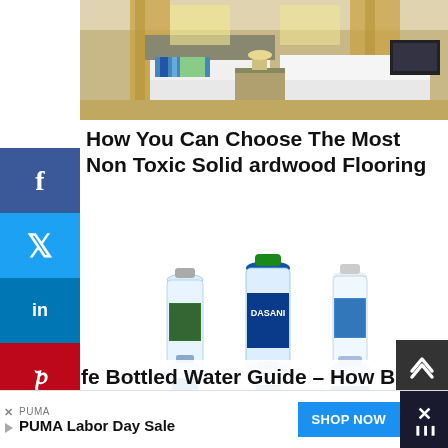[Figure (photo): Hotel room interior showing two beds, curtains, and modern decor]
How You Can Choose The Most Non Toxic Solid Hardwood Flooring
[Figure (photo): Six water bottles of various brands arranged in two rows]
fe Bottled Water Guide – How Bottled Water
PUMA
PUMA Labor Day Sale
SHOP NOW